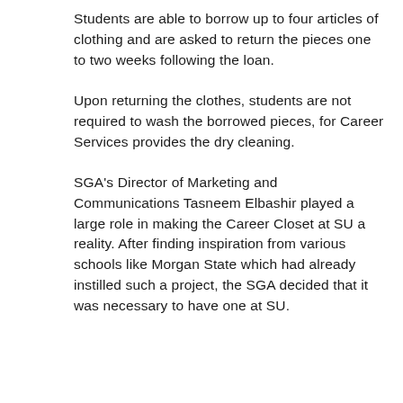Students are able to borrow up to four articles of clothing and are asked to return the pieces one to two weeks following the loan.
Upon returning the clothes, students are not required to wash the borrowed pieces, for Career Services provides the dry cleaning.
SGA's Director of Marketing and Communications Tasneem Elbashir played a large role in making the Career Closet at SU a reality. After finding inspiration from various schools like Morgan State which had already instilled such a project, the SGA decided that it was necessary to have one at SU.